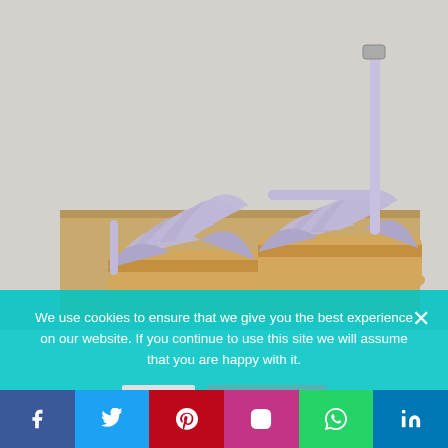[Figure (photo): Photo of lavender/purple woven leather strap sandals with wooden clogs/platform soles, sitting on a cardboard box with 'pawsitiveliving.ca' printed on it. The sandals feature criss-cross leather straps and ankle strap with buckle.]
We use cookies to ensure that we give you the best experience on our website. If you continue to use this site we will assume that you are happy with it.
[Figure (other): Social media share bar with icons for Facebook, Twitter, Pinterest, Instagram, WhatsApp, and LinkedIn]